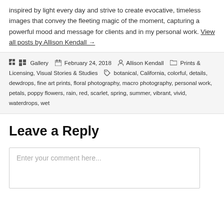inspired by light every day and strive to create evocative, timeless images that convey the fleeting magic of the moment, capturing a powerful mood and message for clients and in my personal work. View all posts by Allison Kendall →
Gallery  February 24, 2018  Allison Kendall  Prints & Licensing, Visual Stories & Studies  botanical, California, colorful, details, dewdrops, fine art prints, floral photography, macro photography, personal work, petals, poppy flowers, rain, red, scarlet, spring, summer, vibrant, vivid, waterdrops, wet
Leave a Reply
Enter your comment here...